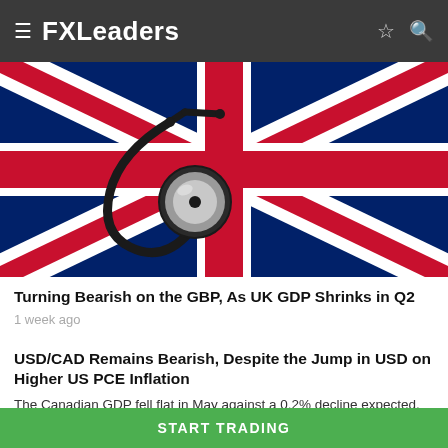FXLeaders
[Figure (photo): A stethoscope placed on a UK Union Jack flag, symbolizing the health of the UK economy.]
Turning Bearish on the GBP, As UK GDP Shrinks in Q2
1 week ago
USD/CAD Remains Bearish, Despite the Jump in USD on Higher US PCE Inflation
The Canadian GDP fell flat in May against a 0.2% decline expected,
START TRADING